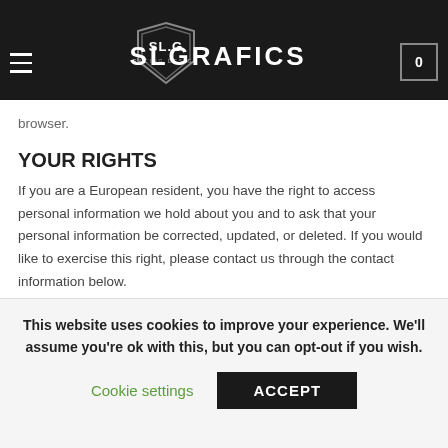DO NOT TRACK — SLGrafics navigation bar
Please note that we do not alter our Site's data collection and use practices when we see a Do Not Track signal from your browser.
YOUR RIGHTS
If you are a European resident, you have the right to access personal information we hold about you and to ask that your personal information be corrected, updated, or deleted. If you would like to exercise this right, please contact us through the contact information below.
Additionally, if you are a European resident we note that we are processing your information in order to fulfill contracts
This website uses cookies to improve your experience. We'll assume you're ok with this, but you can opt-out if you wish.